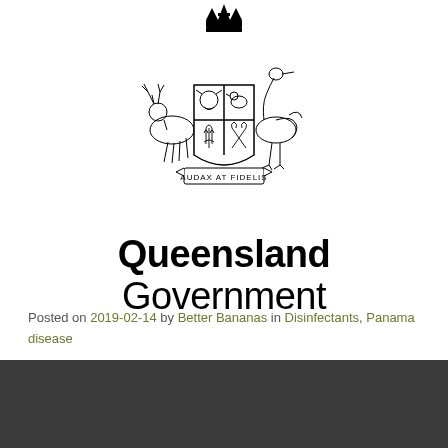[Figure (logo): Queensland Government coat of arms: shield with animals (bull, crane), crown, deer supporter on left, pelican supporter on right, and ribbon at bottom reading AUDAX AT FIDELIS]
Queensland Government
Posted on 2019-02-14 by Better Bananas in Disinfectants, Panama disease